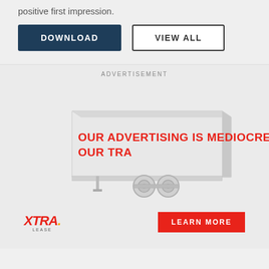positive first impression.
DOWNLOAD | VIEW ALL
ADVERTISEMENT
[Figure (illustration): A white semi-truck trailer with red bold text reading 'OUR ADVERTISING IS MEDIOCRE. OUR TRA' on the side, shown at a slight angle with wheels visible.]
[Figure (logo): XTRA Lease logo in red and yellow italic bold text]
LEARN MORE